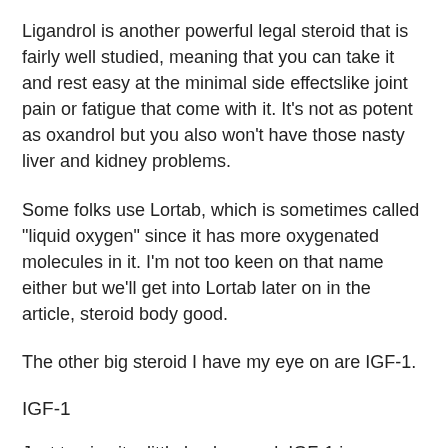Ligandrol is another powerful legal steroid that is fairly well studied, meaning that you can take it and rest easy at the minimal side effectslike joint pain or fatigue that come with it. It's not as potent as oxandrol but you also won't have those nasty liver and kidney problems.
Some folks use Lortab, which is sometimes called "liquid oxygen" since it has more oxygenated molecules in it. I'm not too keen on that name either but we'll get into Lortab later on in the article, steroid body good.
The other big steroid I have my eye on are IGF-1.
IGF-1
Just to give it a little background, IGF-1 is a growth hormone secreted by the pituitary